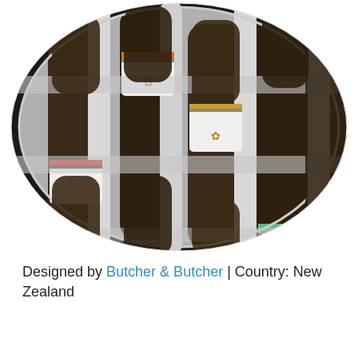[Figure (photo): Circular cropped photograph showing multiple wine bottles arranged closely together in a wine rack or holder, featuring white labels with fleur-de-lis motifs and colored stripes (red, orange, gold, green). The bottles are dark glass with a stylized modern label design. The image is clipped in a circular frame on a white background.]
Designed by Butcher & Butcher | Country: New Zealand